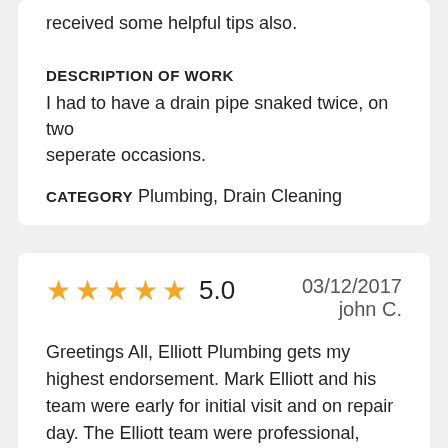received some helpful tips also.
DESCRIPTION OF WORK
I had to have a drain pipe snaked twice, on two seperate occasions.
CATEGORY Plumbing, Drain Cleaning
5.0  03/12/2017  john C.
Greetings All, Elliott Plumbing gets my highest endorsement. Mark Elliott and his team were early for initial visit and on repair day. The Elliott team were professional, experts, that finished the job in less than 4 hours and were under the estimated bid that was provided. If you need an honest plumber that can get